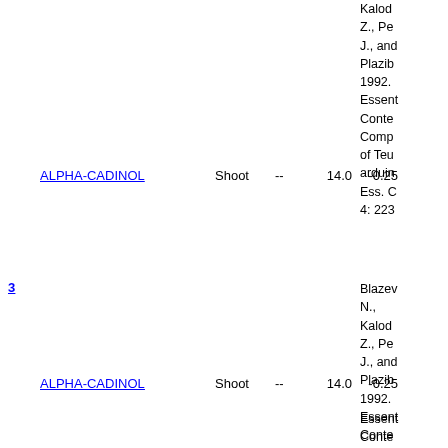Kalod Z., Pe J., and Plazib 1992. Essent Conte Comp of Teu arduin Ess. C 4: 223
ALPHA-CADINOL   Shoot   --   14.0   -0.25
3
Blazev N., Kalod Z., Pe J., and Plazib 1992. Essent Conte Comp of Teu arduin Ess. C
ALPHA-CADINOL   Shoot   --   14.0   -0.25
Essent Conte Comp of Teu arduin Ess. C